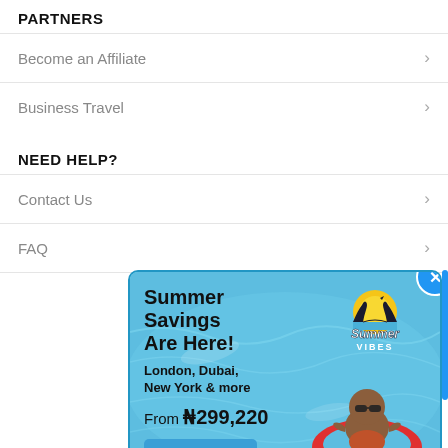PARTNERS
Become an Affiliate
Business Travel
NEED HELP?
Contact Us
FAQ
[Figure (illustration): Summer Savings promotional popup ad with blue pool water background, baby on a red life ring, Summer Vibes badge, text 'Summer Savings Are Here! London, Dubai, New York & more From ₦299,220', and a Book Now button. Close (X) button in top right corner.]